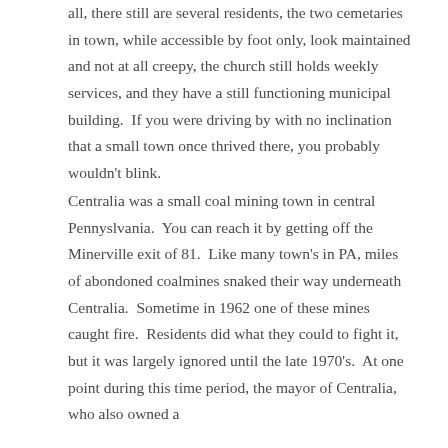all, there still are several residents, the two cemetaries in town, while accessible by foot only, look maintained and not at all creepy, the church still holds weekly services, and they have a still functioning municipal building.  If you were driving by with no inclination that a small town once thrived there, you probably wouldn't blink.
Centralia was a small coal mining town in central Pennyslvania.  You can reach it by getting off the Minerville exit of 81.  Like many town's in PA, miles of abondoned coalmines snaked their way underneath Centralia.  Sometime in 1962 one of these mines caught fire.  Residents did what they could to fight it, but it was largely ignored until the late 1970's.  At one point during this time period, the mayor of Centralia, who also owned a